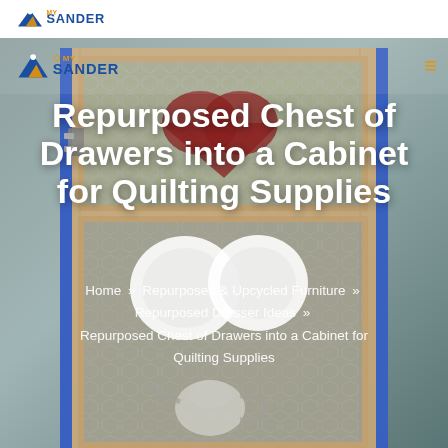[Figure (screenshot): Website header screenshot showing MySander logo on white top bar, and a hero section with a background photo of a repurposed chest of drawers converted to a cabinet with chicken wire door panels, blue painted edges, and various quilting supplies visible. A nav bar with MySander logo and hamburger menu icon overlays the top of the hero image.]
Repurposed Chest of Drawers into a Cabinet for Quilting Supplies
Home » Repurposed & Upcycled Furniture » Repurposed Dresser Ideas » Repurposed Chest of Drawers into a Cabinet for Quilting Supplies